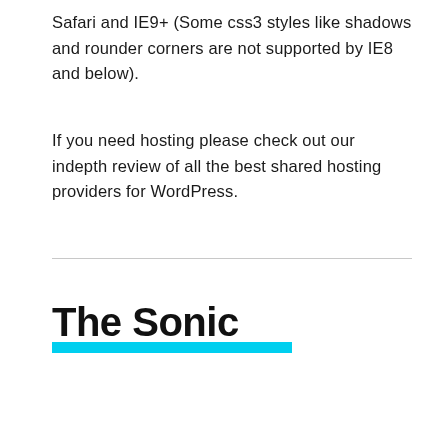Safari and IE9+ (Some css3 styles like shadows and rounder corners are not supported by IE8 and below).
If you need hosting please check out our indepth review of all the best shared hosting providers for WordPress.
The Sonic